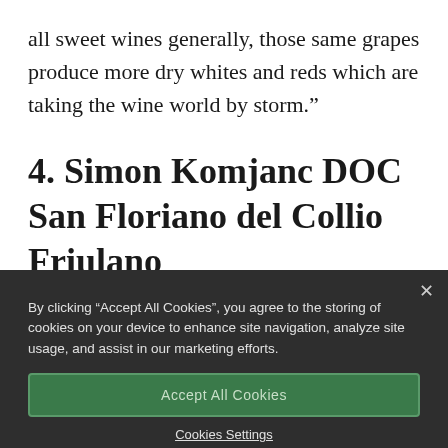all sweet wines generally, those same grapes produce more dry whites and reds which are taking the wine world by storm.”
4. Simon Komjanc DOC San Floriano del Collio Friulano
By clicking “Accept All Cookies”, you agree to the storing of cookies on your device to enhance site navigation, analyze site usage, and assist in our marketing efforts.
Accept All Cookies
Cookies Settings